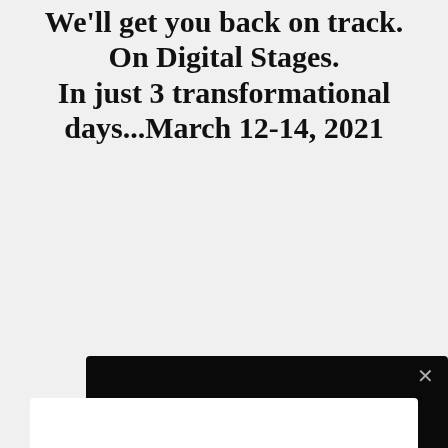We'll get you back on track. On Digital Stages. In just 3 transformational days...March 12-14, 2021
[Figure (screenshot): Video player error dialog on black background with close button (×), title 'Player error', and message 'The player is having trouble. We'll have it back up and running as soon as possible.']